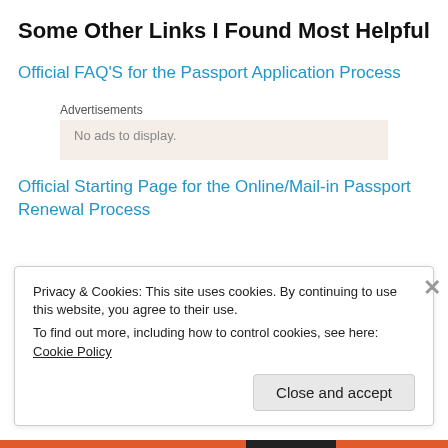Some Other Links I Found Most Helpful
Official FAQ'S for the Passport Application Process
Advertisements
Official Starting Page for the Online/Mail-in Passport Renewal Process
Privacy & Cookies: This site uses cookies. By continuing to use this website, you agree to their use.
To find out more, including how to control cookies, see here: Cookie Policy